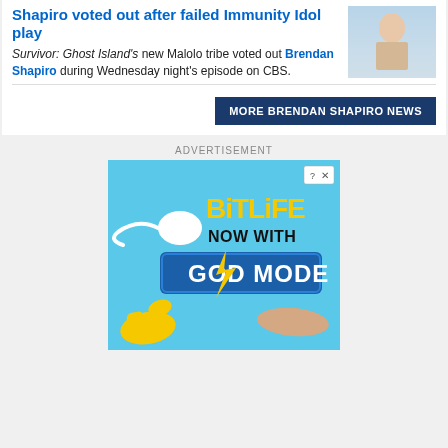Shapiro voted out after failed Immunity Idol play
Survivor: Ghost Island's new Malolo tribe voted out Brendan Shapiro during Wednesday night's episode on CBS.
[Figure (photo): Photo of Brendan Shapiro, a shirtless man outdoors]
MORE BRENDAN SHAPIRO NEWS
ADVERTISEMENT
[Figure (screenshot): BitLife app advertisement with light blue background showing 'BitLife NOW WITH GOD MODE' text, a sperm cell illustration, a yellow thumbs up hand, and a pointing hand illustration]